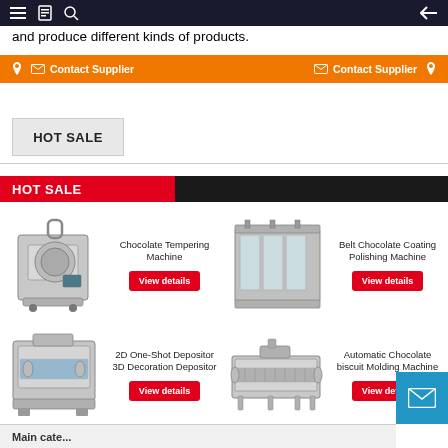Navigation bar with menu, document, search icons and back arrow
and produce different kinds of products.
Contact Supplier  Contact Supplier
HOT SALE
HOT SALE
[Figure (photo): Chocolate Tempering Machine - stainless steel tabletop machine with handle]
Chocolate Tempering Machine
View details
[Figure (photo): Belt Chocolate Coating Polishing Machine - large industrial machine with glass panels]
Belt Chocolate Coating Polishing Machine
View details
[Figure (photo): 2D One-Shot Depositor 3D Decoration Depositor - industrial chocolate depositor machine]
2D One-Shot Depositor 3D Decoration Depositor
View details
[Figure (photo): Automatic Chocolate biscuit Molding Machine - long conveyor style industrial machine]
Automatic Chocolate biscuit Molding Machine
View details
Main categories